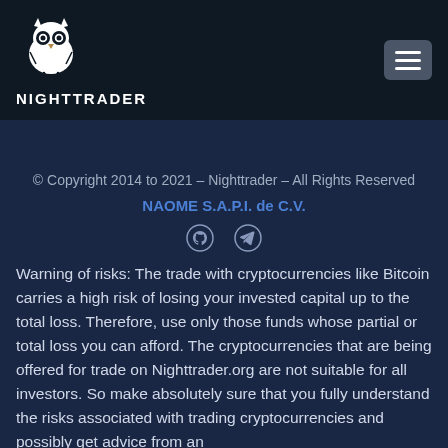[Figure (logo): NightTrader owl logo with text NIGHTTRADER below]
© Copyright 2014 to 2021 – Nighttrader – All Rights Reserved
NAOME S.A.P.I. de C.V.
[Figure (other): GitHub and Telegram social icons]
Warning of risks: The trade with cryptocurrencies like Bitcoin carries a high risk of losing your invested capital up to the total loss. Therefore, use only those funds whose partial or total loss you can afford. The cryptocurrencies that are being offered for trade on Nighttrader.org are not suitable for all investors. So make absolutely sure that you fully understand the risks associated with trading cryptocurrencies and possibly get advice from an